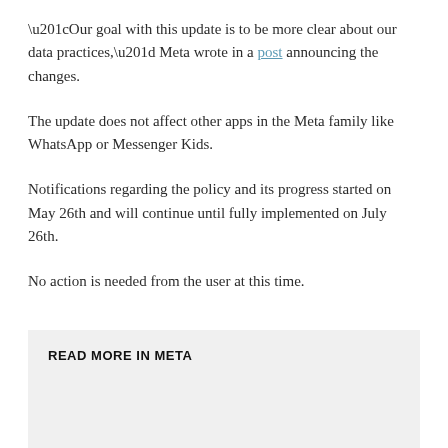“Our goal with this update is to be more clear about our data practices,” Meta wrote in a post announcing the changes.
The update does not affect other apps in the Meta family like WhatsApp or Messenger Kids.
Notifications regarding the policy and its progress started on May 26th and will continue until fully implemented on July 26th.
No action is needed from the user at this time.
READ MORE IN META